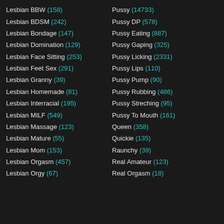Lesbian BBW (158)
Lesbian BDSM (242)
Lesbian Bondage (147)
Lesbian Domination (129)
Lesbian Face Sitting (253)
Lesbian Feet Sex (291)
Lesbian Granny (39)
Lesbian Homemade (81)
Lesbian Interracial (195)
Lesbian MILF (549)
Lesbian Massage (123)
Lesbian Mature (55)
Lesbian Mom (153)
Lesbian Orgasm (457)
Lesbian Orgy (67)
Pussy (14733)
Pussy DP (578)
Pussy Eating (887)
Pussy Gaping (325)
Pussy Licking (2331)
Pussy Lips (110)
Pussy Pump (90)
Pussy Rubbing (486)
Pussy Streching (95)
Pussy To Mouth (161)
Queen (358)
Quickie (135)
Raunchy (39)
Real Amateur (123)
Real Orgasm (18)